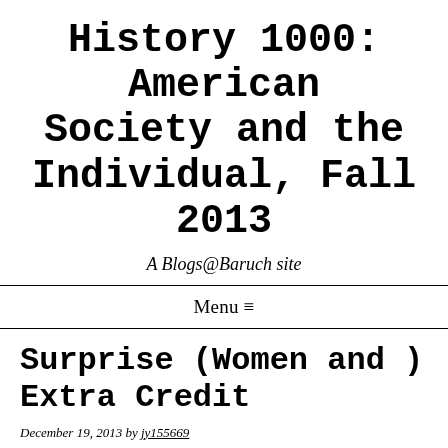History 1000: American Society and the Individual, Fall 2013
A Blogs@Baruch site
Menu ≡
Surprise (Women and ) Extra Credit
December 19, 2013 by jy155669
The "mystique" that Friedan